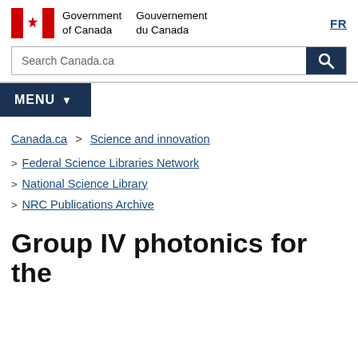[Figure (logo): Government of Canada / Gouvernement du Canada logo with Canadian flag (red and white maple leaf design) and bilingual text]
FR
Search Canada.ca
MENU
Canada.ca > Science and innovation
> Federal Science Libraries Network
> National Science Library
> NRC Publications Archive
Group IV photonics for the